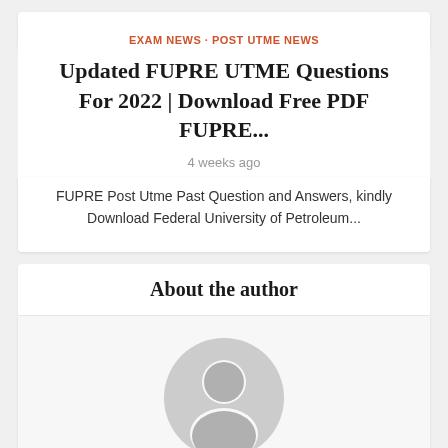EXAM NEWS · POST UTME NEWS
Updated FUPRE UTME Questions For 2022 | Download Free PDF FUPRE...
4 weeks ago
FUPRE Post Utme Past Question and Answers, kindly Download Federal University of Petroleum...
About the author
[Figure (illustration): Default user avatar: circular grey silhouette of a person]